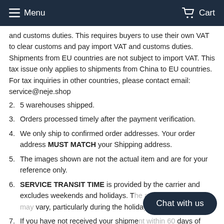Menu  Cart
and customs duties. This requires buyers to use their own VAT to clear customs and pay import VAT and customs duties. Shipments from EU countries are not subject to import VAT. This tax issue only applies to shipments from China to EU countries. For tax inquiries in other countries, please contact email: service@neje.shop
2. 5 warehouses shipped.
3. Orders processed timely after the payment verification.
4. We only ship to confirmed order addresses. Your order address MUST MATCH your Shipping address.
5. The images shown are not the actual item and are for your reference only.
6. SERVICE TRANSIT TIME is provided by the carrier and excludes weekends and holidays. T... vary, particularly during the holida...
7. If you have not received your shipment within ... days of payment, please contact us. We will track the shipment
Chat with us